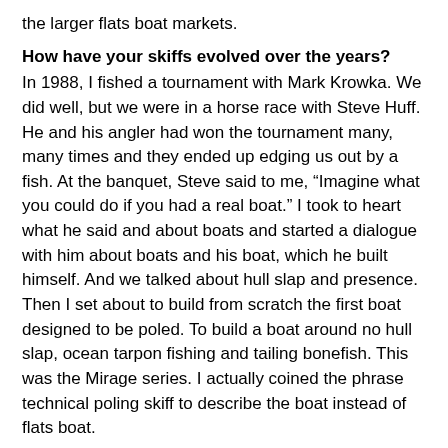the larger flats boat markets.
How have your skiffs evolved over the years?
In 1988, I fished a tournament with Mark Krowka.  We did well, but we were in a horse race with Steve Huff.  He and his angler had won the tournament many, many times and they ended up edging us out by a fish.  At the banquet, Steve said to me, “Imagine what you could do if you had a real boat.”  I took to heart what he said and about boats and started a dialogue with him about boats and his boat, which he built himself.  And we talked about hull slap and presence.  Then I set about to build from scratch the first boat designed to be poled.  To build a boat around no hull slap, ocean tarpon fishing and tailing bonefish.  This was the Mirage series.  I actually coined the phrase technical poling skiff to describe the boat instead of flats boat.
This was my “you don’t know what you don’t know” moment.  When you have a guy like Steve Huff telling you about your boat.  The boats have evolved over the years to meet the compromise
When did the high-end skiff, like yours, inherit it...